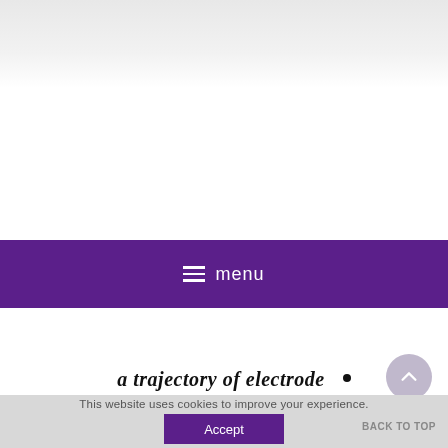[Figure (screenshot): Top header area with light gray gradient background, representing a website header region]
≡ menu
[Figure (screenshot): Partial view of a scientific figure showing text 'a trajectory of electrode' in italic bold serif font with a small dot, cropped at the bottom of the page]
This website uses cookies to improve your experience.
Accept
BACK TO TOP